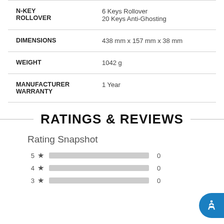| Specification | Value |
| --- | --- |
| N-KEY ROLLOVER | 6 Keys Rollover
20 Keys Anti-Ghosting |
| DIMENSIONS | 438 mm x 157 mm x 38 mm |
| WEIGHT | 1042 g |
| MANUFACTURER WARRANTY | 1 Year |
RATINGS & REVIEWS
Rating Snapshot
5 ★ 0
4 ★ 0
3 ★ 0